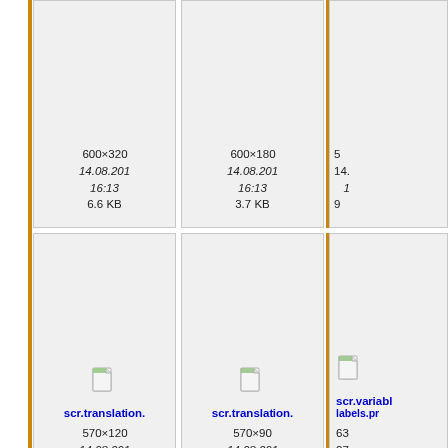[Figure (screenshot): File browser grid view showing thumbnail file entries. Top row (partially visible): three file cells with metadata 600×320/600×180, dates 14.08.201, times 16:13, sizes 6.6 KB / 3.7 KB, and a third partially visible. Middle row: scr.translation. (two cells, 570×120, 570×90, 14.08.201, 16:11/16:21, 1.6 KB/1.3 KB) and scr.variable.labels.p (partially visible, 63×, 27., 1, 6). Bottom row: scr.zufallsgene, symbol.check.p, symbol.ch (partially visible). Left amber vertical bar. Amber vertical dividers between columns 2 and 3.]